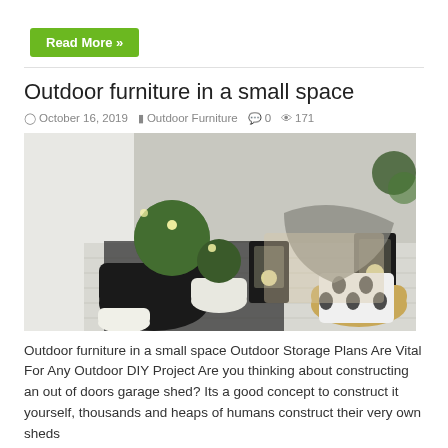Read More »
Outdoor furniture in a small space
October 16, 2019   Outdoor Furniture   0   171
[Figure (photo): A cozy small outdoor patio space decorated with potted plants including topiary balls, black lanterns with candles, a patterned black and white cushion on a wicker pouf, a grey throw, and string lights, on a white wooden deck.]
Outdoor furniture in a small space Outdoor Storage Plans Are Vital For Any Outdoor DIY Project Are you thinking about constructing an out of doors garage shed? Its a good concept to construct it yourself, thousands and heaps of humans construct their very own sheds